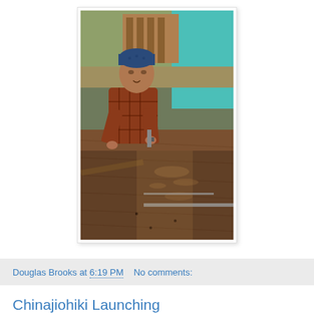[Figure (photo): A man wearing a blue cap and plaid shirt working on a wooden plank with hand tools. Wood shavings are scattered on the surface. Pallets and a teal/turquoise drape are visible in the background.]
Douglas Brooks at 6:19 PM   No comments:
Chinajiohiki Launching